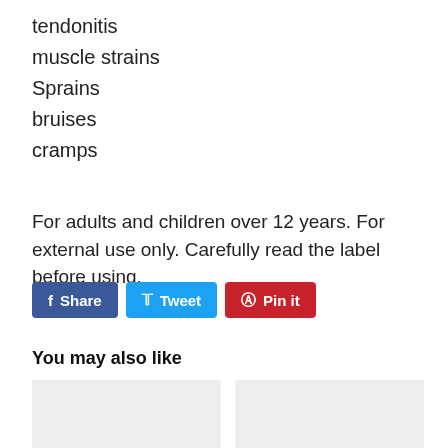tendonitis
muscle strains
Sprains
bruises
cramps
For adults and children over 12 years. For external use only. Carefully read the label before using.
[Figure (other): Social sharing buttons: Facebook Share, Twitter Tweet, Pinterest Pin it]
You may also like
[Figure (other): Two product image placeholder boxes side by side]